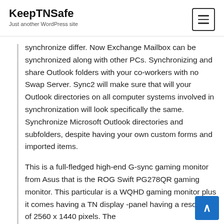KeepTNSafe
Just another WordPress site
synchronize differ. Now Exchange Mailbox can be synchronized along with other PCs. Synchronizing and share Outlook folders with your co-workers with no Swap Server. Sync2 will make sure that will your Outlook directories on all computer systems involved in synchronization will look specifically the same. Synchronize Microsoft Outlook directories and subfolders, despite having your own custom forms and imported items.
This is a full-fledged high-end G-sync gaming monitor from Asus that is the ROG Swift PG278QR gaming monitor. This particular is a WQHD gaming monitor plus it comes having a TN display -panel having a resolution of 2560 x 1440 pixels. The